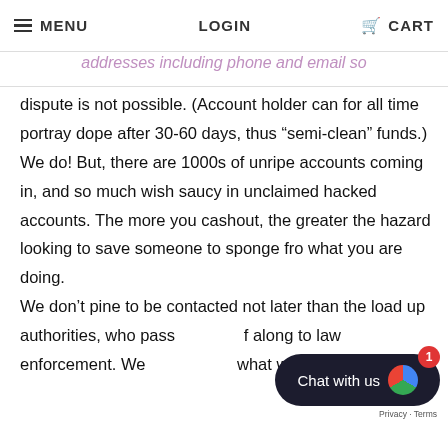MENU  LOGIN  CART
addresses including phone and email so dispute is not possible. (Account holder can for all time portray dope after 30-60 days, thus “semi-clean” funds.) We do! But, there are 1000s of unripe accounts coming in, and so much wish saucy in unclaimed hacked accounts. The more you cashout, the greater the hazard looking to save someone to sponge fro what you are doing.
We don’t pine to be contacted not later than the load up authorities, who pass along to law enforcement. We what we prerequisite